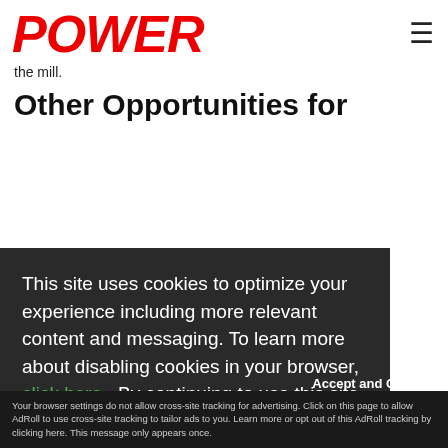POWER
the mill.
Other Opportunities for
This site uses cookies to optimize your experience including more relevant content and messaging. To learn more about disabling cookies in your browser, click here.  By continuing to use this site, you accept our use of cookies. For more information, view our updated Privacy Policy.
I consent
Accept and Close ✕
Your browser settings do not allow cross-site tracking for advertising. Click on this page to allow AdRoll to use cross-site tracking to tailor ads to you. Learn more or opt out of this AdRoll tracking by clicking here. This message only appears once.